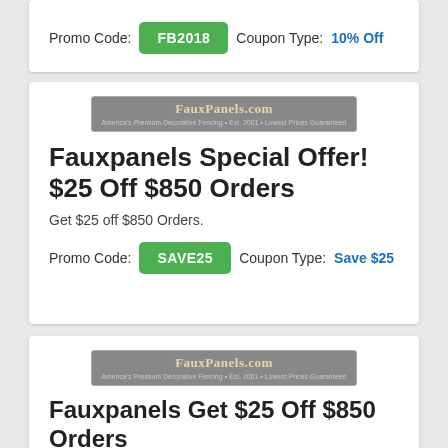Promo Code: FB2018   Coupon Type: 10% Off
[Figure (logo): FauxPanels.com logo badge]
Fauxpanels Special Offer! $25 Off $850 Orders
Get $25 off $850 Orders.
Promo Code: SAVE25   Coupon Type: Save $25
[Figure (logo): FauxPanels.com logo badge]
Fauxpanels Get $25 Off $850 Orders
Get $25 off $850 Orders.
Promo Code:   Coupon Type: Save $25